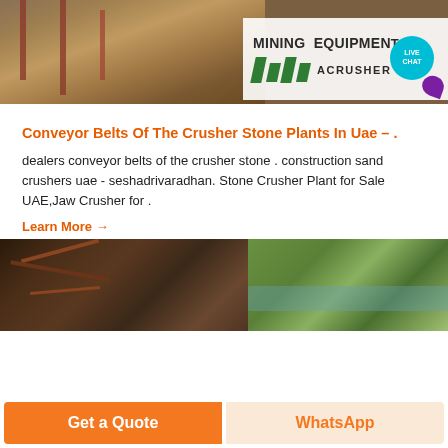[Figure (photo): Mining equipment facility photo with a MINING EQUIPMENT ACRUSHER sign overlay and a LIVE CHAT bubble icon in teal/purple]
Conveyor Belts Of The Crusher Stone Plants In Uae – .
dealers conveyor belts of the crusher stone . construction sand crushers uae - seshadrivaradhan. Stone Crusher Plant for Sale UAE,Jaw Crusher for .
Learn More →
[Figure (photo): Industrial machinery and river/green landscape photo at bottom of page]
Get a Quote
WhatsApp